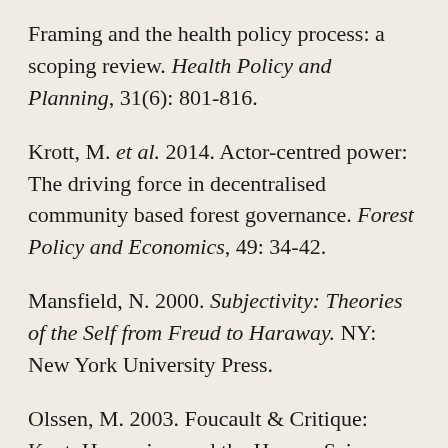Framing and the health policy process: a scoping review. Health Policy and Planning, 31(6): 801-816.
Krott, M. et al. 2014. Actor-centred power: The driving force in decentralised community based forest governance. Forest Policy and Economics, 49: 34-42.
Mansfield, N. 2000. Subjectivity: Theories of the Self from Freud to Haraway. NY: New York University Press.
Olssen, M. 2003. Foucault & Critique: Kant, Humanism and the Human Sciences. Paper presented at the British Educational Research